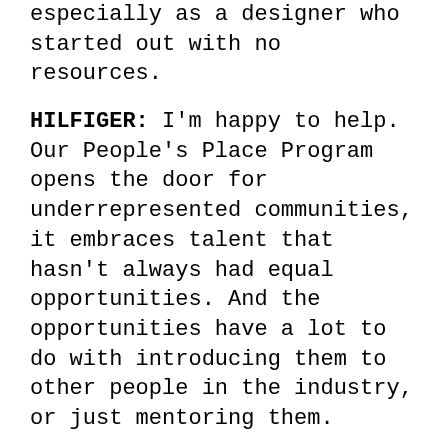especially as a designer who started out with no resources.
HILFIGER: I'm happy to help. Our People's Place Program opens the door for underrepresented communities, it embraces talent that hasn't always had equal opportunities. And the opportunities have a lot to do with introducing them to other people in the industry, or just mentoring them.
HUNTE: I love that you don't talk too much about it. It's all about action.
INTERVIEW: The slogan for the forthcoming capsule collection is